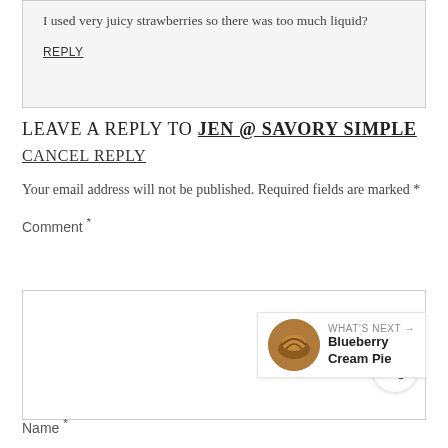I used very juicy strawberries so there was too much liquid?
REPLY
LEAVE A REPLY TO JEN @ SAVORY SIMPLE
CANCEL REPLY
Your email address will not be published. Required fields are marked *
Comment *
Name *